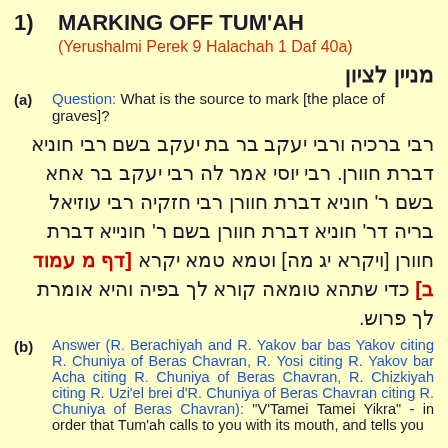1)   MARKING OFF TUM'AH
(Yerushalmi Perek 9 Halachah 1 Daf 40a)
מניין לציון
(a)  Question: What is the source to mark [the place of graves]?
רבי ברכיה ורבי יעקב בר בת יעקב בשם רבי חוניא דברת חוורן. רבי יוסי אמר לה רבי יעקב בר אחא בשם ר' חוניא דברת חוורן רבי חזקיה רבי עוזיאל בריה דר' חוניא דברת חוורן בשם ר' חונייא דברת חוורן [ויקרא יג מה] וטמא טמא יקרא [דף מ עמוד ב] כדי שתהא טומאה קורא לך בפיה והיא אומרת לך פרוש.
(b)  Answer (R. Berachiyah and R. Yakov bar bas Yakov citing R. Chuniya of Beras Chavran, R. Yosi citing R. Yakov bar Acha citing R. Chuniya of Beras Chavran, R. Chizkiyah citing R. Uzi'el brei d'R. Chuniya of Beras Chavran citing R. Chuniya of Beras Chavran): "V'Tamei Tamei Yikra" - in order that Tum'ah calls to you with its mouth, and tells you